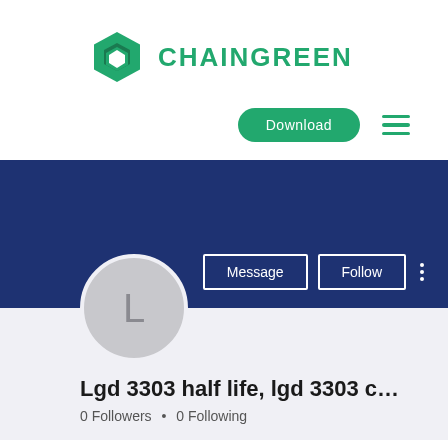[Figure (logo): Chaingreen logo: green hexagon icon followed by CHAINGREEN text in green]
Download
[Figure (other): Hamburger menu icon with three green horizontal lines]
[Figure (other): Dark blue profile banner background with Message and Follow buttons and a vertical three-dot menu]
[Figure (other): Circular grey avatar with letter L]
Lgd 3303 half life, lgd 3303 c…
0 Followers • 0 Following